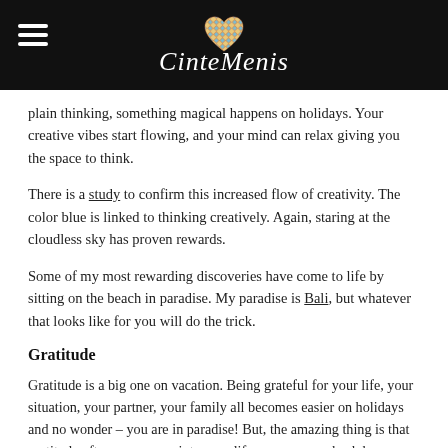CinteMenis [logo with heart]
plain thinking, something magical happens on holidays. Your creative vibes start flowing, and your mind can relax giving you the space to think.
There is a study to confirm this increased flow of creativity. The color blue is linked to thinking creatively. Again, staring at the cloudless sky has proven rewards.
Some of my most rewarding discoveries have come to life by sitting on the beach in paradise. My paradise is Bali, but whatever that looks like for you will do the trick.
Gratitude
Gratitude is a big one on vacation. Being grateful for your life, your situation, your partner, your family all becomes easier on holidays and no wonder – you are in paradise! But, the amazing thing is that gratitude often pours over into your life once you are back home.
Lasting memories and a change of perception can create a very